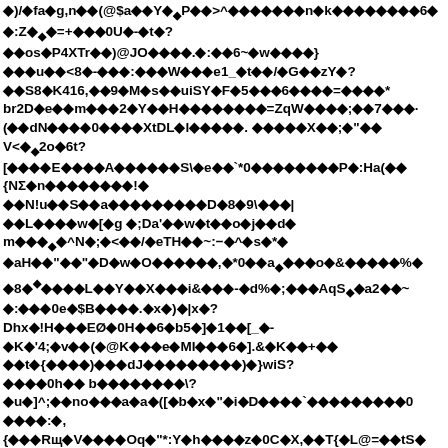◆)/◆fa◆g,n◆◆(@$a◆◆Y◆◆P◆◆>^◆◆◆◆◆◆◆n◆k◆◆◆◆◆◆◆◆6◆
◆:Z◆◆=+◆◆◆0U◆-◆t◆?
◆◆os◆P4XTr◆◆)@JO◆◆◆◆.◆:◆◆6~◆w◆◆◆◆}
◆◆◆u◆◆<8◆-◆◆◆:◆◆◆W◆◆◆e1_◆t◆◆/◆G◆◆zY◆?
◆◆S8◆K416,◆◆9◆M◆s◆◆uiSY◆F◆5◆◆◆6◆◆◆◆=◆◆◆◆*
br2D◆e◆◆m◆◆◆2◆Y◆◆H◆◆◆◆◆◆◆◆=ZqW◆◆◆◆;◆◆7◆◆◆*
(◆◆dN◆◆◆◆0◆◆◆◆XtDL◆l◆◆◆◆◆. ◆◆◆◆◆X◆◆;◆"◆◆
V<◆◆2o◆6t?
[◆◆◆◆E◆◆◆◆A◆◆◆◆◆◆S\◆e◆◆`*0◆◆◆◆◆◆◆◆P◆:Ha(◆◆
{NΣ◆n◆◆◆◆◆◆◆◆!◆
◆◆N!u◆◆S◆◆a◆◆◆◆◆◆◆◆◆D◆8◆9\◆◆◆|
◆◆L◆◆◆◆w◆[◆g ◆;Da'◆◆w◆t◆◆o◆j◆◆d◆
m◆◆◆◆◆^N◆;◆<◆◆/◆eTH◆◆~:−◆^◆s◆*◆
◆aH◆◆"◆◆"◆D◆w◆O◆◆◆◆◆◆,◆*0◆◆a◆◆◆o◆&◆◆◆◆◆%◆
◆8◆◆◆◆◆◆L◆◆Y◆◆X◆◆◆i&◆◆◆-◆d%◆;◆◆◆AqS◆◆a2◆◆~
◆:◆◆◆0e◆$B◆◆◆◆.◆x◆)◆|x◆?
Dhx◆!H◆◆◆EØ◆0H◆◆6◆b5◆]◆1◆◆[_◆-
◆K◆'4;◆v◆◆(◆@K◆◆◆e◆MI◆◆◆6◆].&◆K◆◆+◆◆
◆◆t◆{◆◆◆◆)◆◆◆dJ◆◆◆◆◆◆◆◆◆)◆}wiS?
◆◆◆◆0h◆◆ b◆◆◆◆◆◆◆◆\?
◆u◆]^;◆◆no◆◆◆a◆a◆([◆b◆x◆"◆i◆D◆◆◆◆`◆◆◆◆◆◆◆◆◆0
◆◆◆◆:◆,
{◆◆◆Rщ◆V◆◆◆◆Oq◆"*:Y◆h◆◆◆◆z◆0C◆X,◆◆T{◆L@=◆◆tS◆
◆◆D◆pFsA◆0N◆◆n ◆]◆&